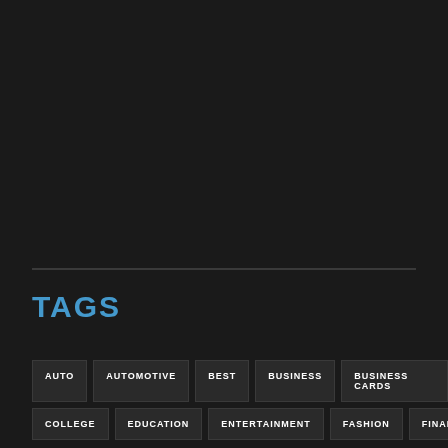TAGS
AUTO
AUTOMOTIVE
BEST
BUSINESS
BUSINESS CARDS
COLLEGE
EDUCATION
ENTERTAINMENT
FASHION
FINANCE